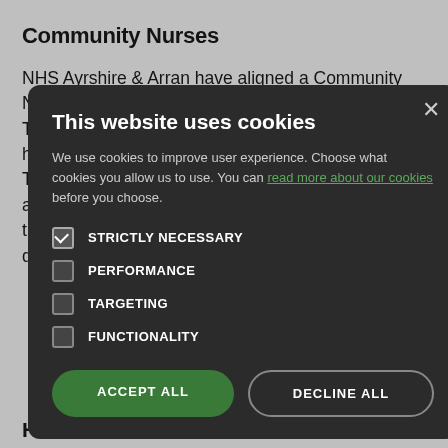Community Nurses
NHS Ayrshire & Arran have aligned a Community Nursing Team to our Practice. The District Nursing Team can provide care and treatment to our housebound population. T… w. Please note a… at you may need t… . This is d… e day.
[Figure (screenshot): Cookie consent modal dialog with dark background. Title: 'This website uses cookies'. Body text: 'We use cookies to improve user experience. Choose what cookies you allow us to use. You can read more about our cookies before you choose.' Four checkboxes: STRICTLY NECESSARY (checked), PERFORMANCE (unchecked), TARGETING (unchecked), FUNCTIONALITY (unchecked). Two buttons: ACCEPT ALL (green) and DECLINE ALL (outlined).]
… after you d… livery. They can g… atal and p…
Health Visitors